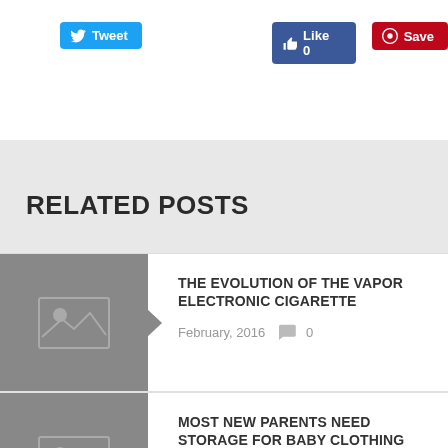[Figure (screenshot): Social share buttons: Tweet (Twitter, blue), Like 0 (Facebook, blue), Save (Pinterest, red)]
RELATED POSTS
[Figure (illustration): Thumbnail placeholder image for post 1]
THE EVOLUTION OF THE VAPOR ELECTRONIC CIGARETTE
February, 2016  0
[Figure (illustration): Thumbnail placeholder image for post 2]
MOST NEW PARENTS NEED STORAGE FOR BABY CLOTHING
February, 2013  0
Share This